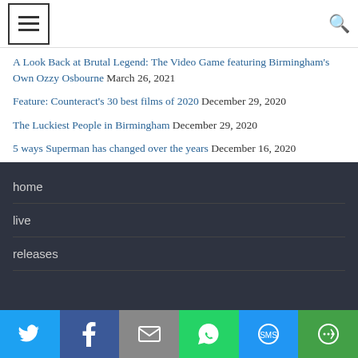Menu | Search
A Look Back at Brutal Legend: The Video Game featuring Birmingham's Own Ozzy Osbourne March 26, 2021
Feature: Counteract's 30 best films of 2020 December 29, 2020
The Luckiest People in Birmingham December 29, 2020
5 ways Superman has changed over the years December 16, 2020
home
live
releases
Twitter | Facebook | Email | WhatsApp | SMS | More